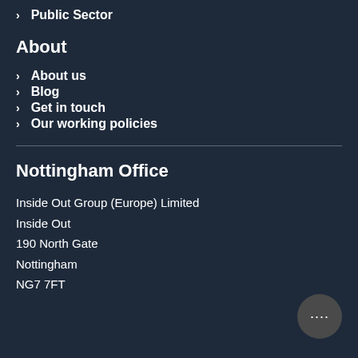Public Sector
About
About us
Blog
Get in touch
Our working policies
Nottingham Office
Inside Out Group (Europe) Limited
Inside Out
190 North Gate
Nottingham
NG7 7FT